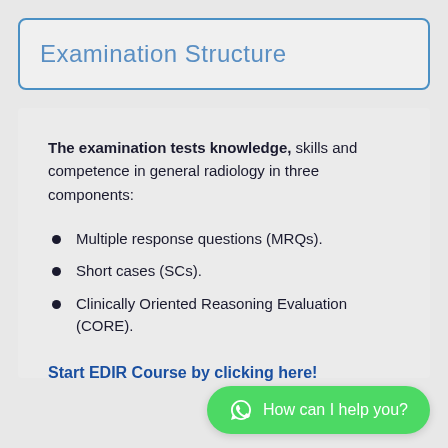Examination Structure
The examination tests knowledge, skills and competence in general radiology in three components:
Multiple response questions (MRQs).
Short cases (SCs).
Clinically Oriented Reasoning Evaluation (CORE).
Start EDIR Course by clicking here!
How can I help you?